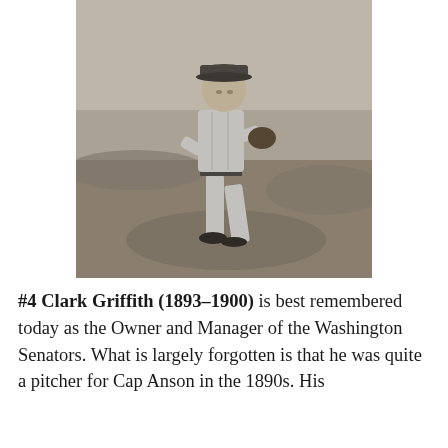[Figure (photo): Black and white photograph of Clark Griffith in a baseball uniform, pitching or walking on a baseball field. He is wearing a light-colored uniform and the image appears to be from the early 1900s era.]
#4 Clark Griffith (1893–1900) is best remembered today as the Owner and Manager of the Washington Senators. What is largely forgotten is that he was quite a pitcher for Cap Anson in the 1890s. His